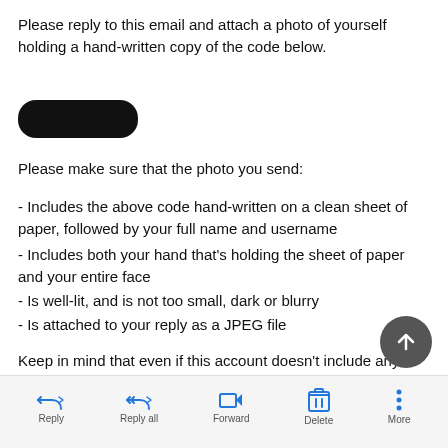Please reply to this email and attach a photo of yourself holding a hand-written copy of the code below.
[Figure (photo): Redacted/blacked-out code or text, shown as a black rounded rectangle (censored).]
Please make sure that the photo you send:
- Includes the above code hand-written on a clean sheet of paper, followed by your full name and username
- Includes both your hand that's holding the sheet of paper and your entire face
- Is well-lit, and is not too small, dark or blurry
- Is attached to your reply as a JPEG file
Keep in mind that even if this account doesn't include any pictures of you or is used to represent someone or something else, we won't be able to help until we receive a photo that meets these requirements.
Thanks,